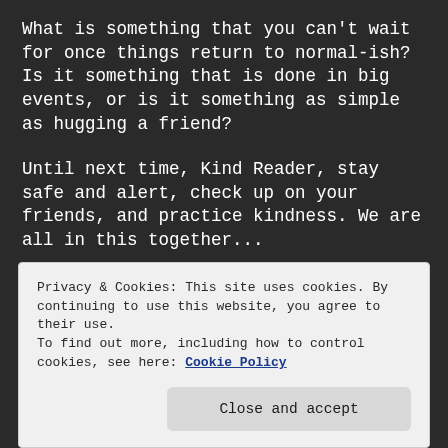What is something that you can't wait for once things return to normal-ish? Is it something that is done in big events, or is it something as simple as hugging a friend?
Until next time, Kind Reader, stay safe and alert, check up on your friends, and practice kindness. We are all in this together...
[Figure (illustration): Red heart emoji icon]
Privacy & Cookies: This site uses cookies. By continuing to use this website, you agree to their use.
To find out more, including how to control cookies, see here: Cookie Policy
Close and accept